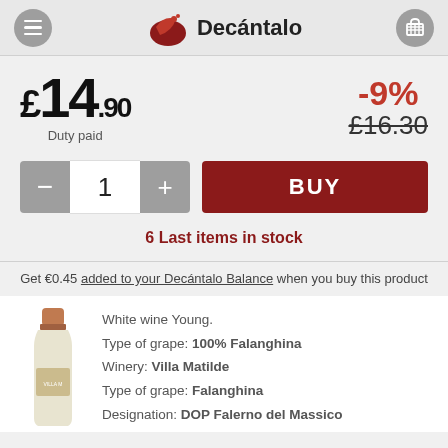Decántalo
£14.90 Duty paid
-9% £16.30
- 1 + BUY
6 Last items in stock
Get €0.45 added to your Decántalo Balance when you buy this product
White wine Young.
Type of grape: 100% Falanghina
Winery: Villa Matilde
Type of grape: Falanghina
Designation: DOP Falerno del Massico